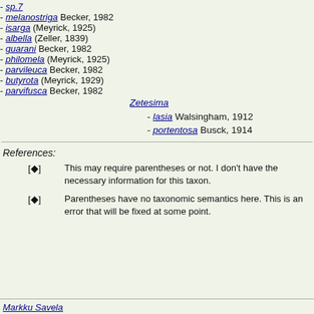- sp.7
- melanostriga Becker, 1982
- isarga (Meyrick, 1925)
- albella (Zeller, 1839)
- guarani Becker, 1982
- philomela (Meyrick, 1925)
- parvileuca Becker, 1982
- butyrota (Meyrick, 1929)
- parvifusca Becker, 1982
Zetesima
- lasia Walsingham, 1912
- portentosa Busck, 1914
References:
[?] This may require parentheses or not. I don't have the necessary information for this taxon.
[?] Parentheses have no taxonomic semantics here. This is an error that will be fixed at some point.
Markku Savela